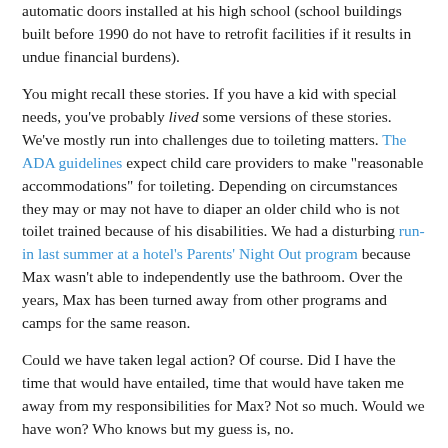automatic doors installed at his high school (school buildings built before 1990 do not have to retrofit facilities if it results in undue financial burdens).
You might recall these stories. If you have a kid with special needs, you've probably lived some versions of these stories. We've mostly run into challenges due to toileting matters. The ADA guidelines expect child care providers to make "reasonable accommodations" for toileting. Depending on circumstances they may or may not have to diaper an older child who is not toilet trained because of his disabilities. We had a disturbing run-in last summer at a hotel's Parents' Night Out program because Max wasn't able to independently use the bathroom. Over the years, Max has been turned away from other programs and camps for the same reason.
Could we have taken legal action? Of course. Did I have the time that would have entailed, time that would have taken me away from my responsibilities for Max? Not so much. Would we have won? Who knows but my guess is, no.
What the ADA can't resolve is the persistent prejudice in...